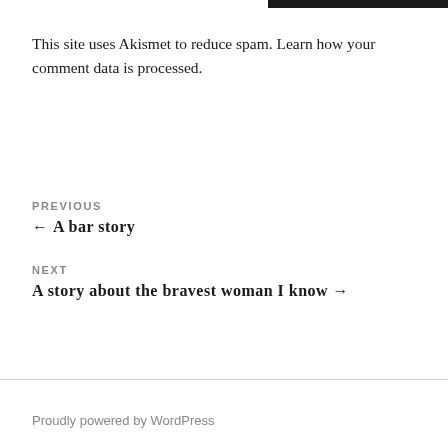This site uses Akismet to reduce spam. Learn how your comment data is processed.
PREVIOUS
← A bar story
NEXT
A story about the bravest woman I know →
Proudly powered by WordPress